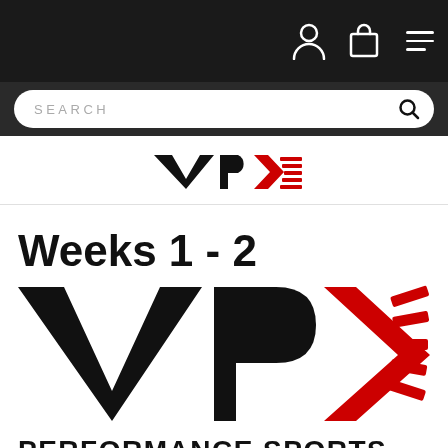[Figure (screenshot): Dark navigation bar with user icon, shopping bag icon, and hamburger menu icon on white background]
[Figure (screenshot): Dark search bar with rounded rectangle search box containing placeholder text SEARCH and magnifying glass icon]
[Figure (logo): VPX Performance Sports logo small version in header area]
Weeks 1 - 2
[Figure (logo): VPX Performance Sports large logo with bold black V, P, red arrow X shape and diagonal red lines, PERFORMANCE SPORTS text below]